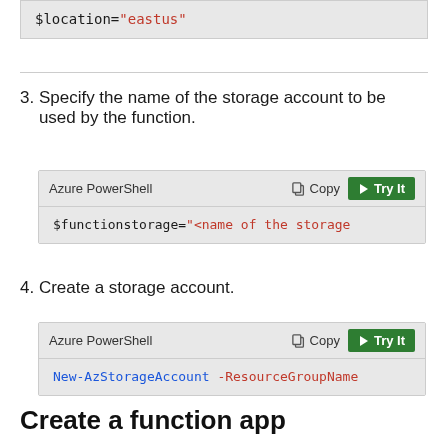[Figure (screenshot): Code snippet showing: $location="eastus"]
3. Specify the name of the storage account to be used by the function.
[Figure (screenshot): Azure PowerShell code block with Copy and Try It buttons. Code: $functionstorage="<name of the storage]
4. Create a storage account.
[Figure (screenshot): Azure PowerShell code block with Copy and Try It buttons. Code: New-AzStorageAccount -ResourceGroupName]
Create a function app